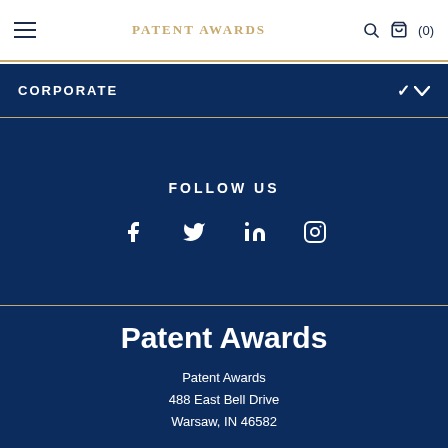PATENT AWARDS
CORPORATE
FOLLOW US
[Figure (other): Social media icons: Facebook, Twitter, LinkedIn, Instagram]
Patent Awards
Patent Awards
488 East Bell Drive
Warsaw, IN 46582